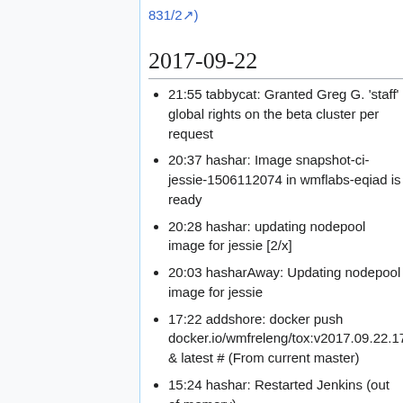831/2 )
2017-09-22
21:55 tabbycat: Granted Greg G. 'staff' global rights on the beta cluster per request
20:37 hashar: Image snapshot-ci-jessie-1506112074 in wmflabs-eqiad is ready
20:28 hashar: updating nodepool image for jessie [2/x]
20:03 hasharAway: Updating nodepool image for jessie
17:22 addshore: docker push docker.io/wmfreleng/tox:v2017.09.22.17 & latest # (From current master)
15:24 hashar: Restarted Jenkins (out of memory)
10:06 hashar: deployement-salt02 migrated hiera config from wikitech to